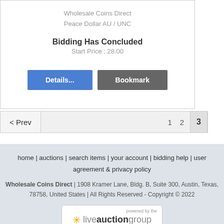Wholesale Coins Direct
Peace Dollar AU / UNC
Bidding Has Concluded
Start Price : 28.00
Details... | Bookmark
< Prev  1  2  3
home | auctions | search items | your account | bidding help | user agreement & privacy policy
Wholesale Coins Direct | 1908 Kramer Lane, Bldg. B, Suite 300, Austin, Texas, 78758, United States | All Rights Reserved - Copyright © 2022
powered by the liveauctiongroup Online Auction Software